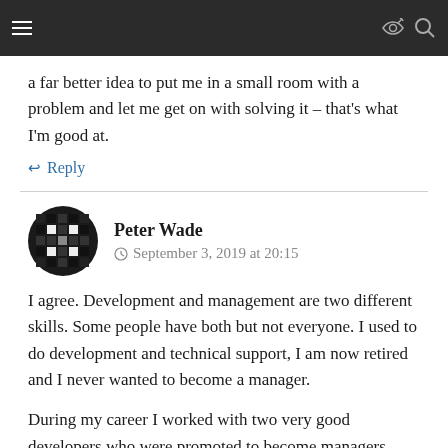[navigation bar with hamburger menu and icons]
a far better idea to put me in a small room with a problem and let me get on with solving it – that's what I'm good at.
↩ Reply
Peter Wade
© September 3, 2019 at 20:15
I agree. Development and management are two different skills. Some people have both but not everyone. I used to do development and technical support, I am now retired and I never wanted to become a manager.
During my career I worked with two very good developers who were promoted to become managers